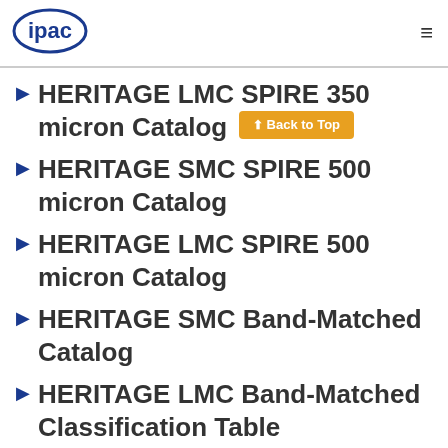ipac
HERITAGE LMC SPIRE 350 micron Catalog
HERITAGE SMC SPIRE 500 micron Catalog
HERITAGE LMC SPIRE 500 micron Catalog
HERITAGE SMC Band-Matched Catalog
HERITAGE LMC Band-Matched Classification Table